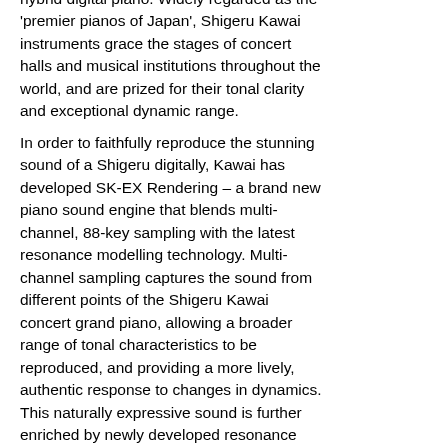hybrid digital piano. Widely regarded as the 'premier pianos of Japan', Shigeru Kawai instruments grace the stages of concert halls and musical institutions throughout the world, and are prized for their tonal clarity and exceptional dynamic range.
In order to faithfully reproduce the stunning sound of a Shigeru digitally, Kawai has developed SK-EX Rendering – a brand new piano sound engine that blends multi-channel, 88-key sampling with the latest resonance modelling technology. Multi-channel sampling captures the sound from different points of the Shigeru Kawai concert grand piano, allowing a broader range of tonal characteristics to be reproduced, and providing a more lively, authentic response to changes in dynamics. This naturally expressive sound is further enriched by newly developed resonance algorithms, which physically model the complex tonal interactions produced by the strings, pedals, and various other parts of an acoustic piano, giving players the impression that they're sitting at a living